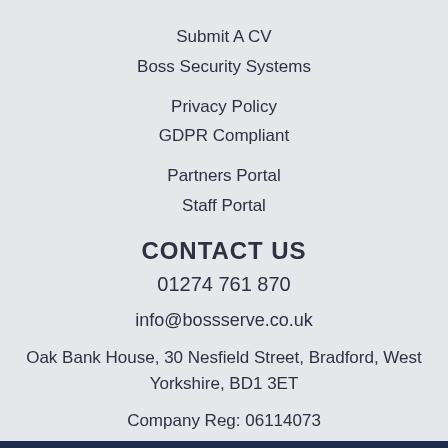Submit A CV
Boss Security Systems
Privacy Policy
GDPR Compliant
Partners Portal
Staff Portal
CONTACT US
01274 761 870
info@bossserve.co.uk
Oak Bank House, 30 Nesfield Street, Bradford, West Yorkshire, BD1 3ET
Company Reg: 06114073